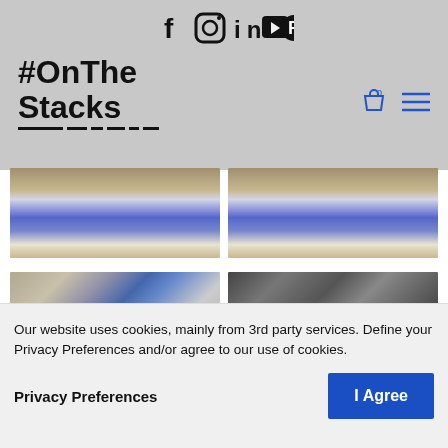f  Instagram  in  YouTube  Patreon
[Figure (logo): #OnTheStacks logo with decorative underlines]
[Figure (photo): Two photos showing people seated on blue partition in workshop/warehouse setting]
[Figure (photo): Two photos: left shows two people sitting on blue partition in workshop; right is black and white photo of two people near a globe with microphones]
Our website uses cookies, mainly from 3rd party services. Define your Privacy Preferences and/or agree to our use of cookies.
Privacy Preferences
I Agree